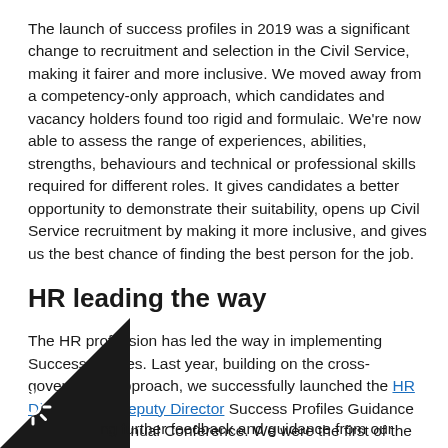The launch of success profiles in 2019 was a significant change to recruitment and selection in the Civil Service, making it fairer and more inclusive. We moved away from a competency-only approach, which candidates and vacancy holders found too rigid and formulaic. We're now able to assess the range of experiences, abilities, strengths, behaviours and technical or professional skills required for different roles. It gives candidates a better opportunity to demonstrate their suitability, opens up Civil Service recruitment by making it more inclusive, and gives us the best chance of finding the best person for the job.
HR leading the way
The HR profession has led the way in implementing Success Profiles. Last year, building on the cross-government approach, we successfully launched the HR Director and Deputy Director Success Profiles Guidance at the CIPD Annual Conference. We were the first of the Civil Service professions to do this.
ng further feedback and guidance from our